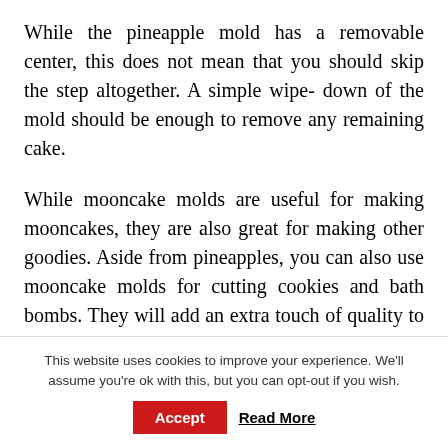While the pineapple mold has a removable center, this does not mean that you should skip the step altogether. A simple wipe- down of the mold should be enough to remove any remaining cake.
While mooncake molds are useful for making mooncakes, they are also great for making other goodies. Aside from pineapples, you can also use mooncake molds for cutting cookies and bath bombs. They will add an extra touch of quality to any project. Although they look like a lot of work, they are also quite effective in the household. Here
This website uses cookies to improve your experience. We'll assume you're ok with this, but you can opt-out if you wish.
Accept   Read More